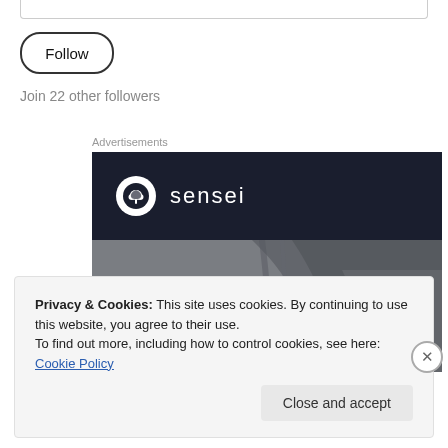[Figure (screenshot): Top portion of a web form input bar, partially visible at top of page]
Follow
Join 22 other followers
Advertisements
[Figure (illustration): Sensei advertisement banner with dark navy top section showing sensei logo (bonsai tree in circle) and brand name 'sensei', lower grey section showing abstract illustrated figure]
Privacy & Cookies: This site uses cookies. By continuing to use this website, you agree to their use.
To find out more, including how to control cookies, see here: Cookie Policy
Close and accept